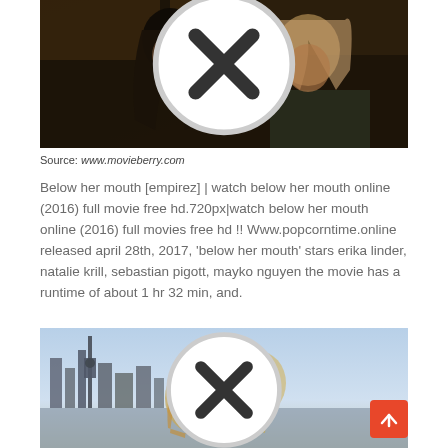[Figure (photo): Two women in a close intimate scene, one with long hair facing away, one blonde facing forward, in a dark interior setting]
Source: www.movieberry.com
Below her mouth [empirez] | watch below her mouth online (2016) full movie free hd.720px|watch below her mouth online (2016) full movies free hd !! Www.popcorntime.online released april 28th, 2017, 'below her mouth' stars erika linder, natalie krill, sebastian pigott, mayko nguyen the movie has a runtime of about 1 hr 32 min, and.
[Figure (photo): Two blonde women close together outdoors with a city skyline in the background]